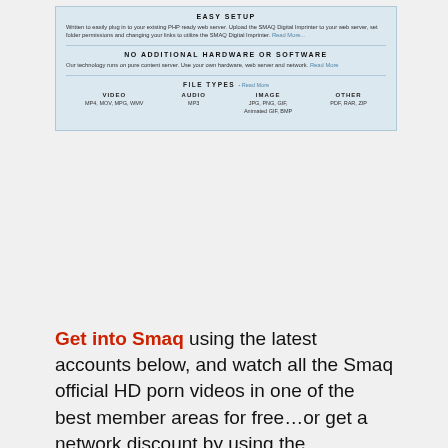[Figure (screenshot): Screenshot of SMAQ Digital Imprinter feature list showing Easy Setup, No Additional Hardware or Software, and File Types sections (Video, Audio, Image, Other) on a light blue background.]
Get into Smaq using the latest accounts below, and watch all the Smaq official HD porn videos in one of the best member areas for free…or get a network discount by using the smaq.com free pic above to create a new password. If you use this offer to Save on a SMAQ Account, you'll get a premium membership for the lowest discount price! Get instant access to tons of Raw Exclusive HD Videos, Professional Hi-Res. Photos, and New Upcoming Episodes. Don't miss this limited